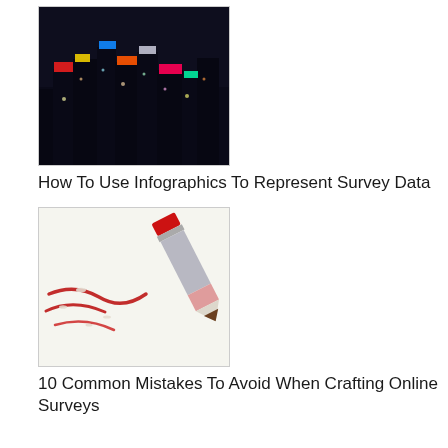[Figure (photo): City at night with bright neon lights and billboards (Times Square style)]
How To Use Infographics To Represent Survey Data
[Figure (photo): Red pencil eraser erasing marks on paper]
10 Common Mistakes To Avoid When Crafting Online Surveys
[Figure (photo): Paper with red A+ and C grades written on it]
7 Tips To Minimize Response Bias
[Figure (screenshot): Screenshot showing 'Welcome To Your First' text with interface elements]